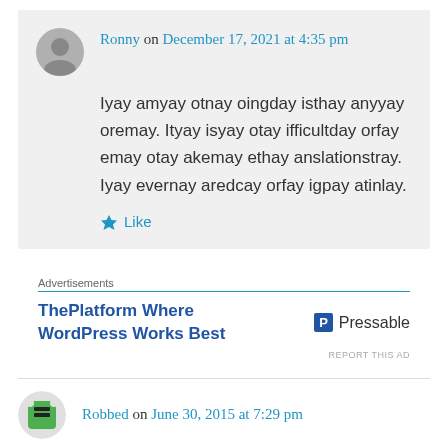Ronny on December 17, 2021 at 4:35 pm
Iyay amyay otnay oingday isthay anyyay oremay. Ityay isyay otay ifficultday orfay emay otay akemay ethay anslationstray. Iyay evernay aredcay orfay igpay atinlay.
Like
Advertisements
ThePlatform Where WordPress Works Best
Pressable
REPORT THIS AD
Robbed on June 30, 2015 at 7:29 pm